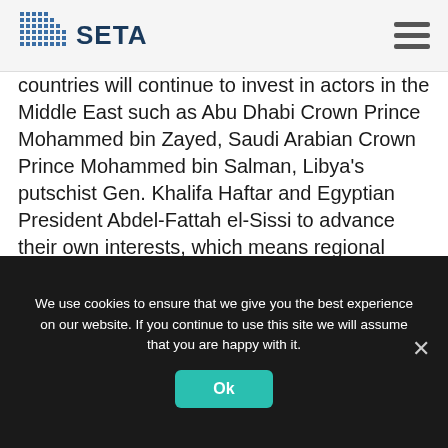SETA
countries will continue to invest in actors in the Middle East such as Abu Dhabi Crown Prince Mohammed bin Zayed, Saudi Arabian Crown Prince Mohammed bin Salman, Libya's putschist Gen. Khalifa Haftar and Egyptian President Abdel-Fattah el-Sissi to advance their own interests, which means regional chaos and political instability is likely to continue for a while.
[Daily Sabah, 16 September 2020]
We use cookies to ensure that we give you the best experience on our website. If you continue to use this site we will assume that you are happy with it.